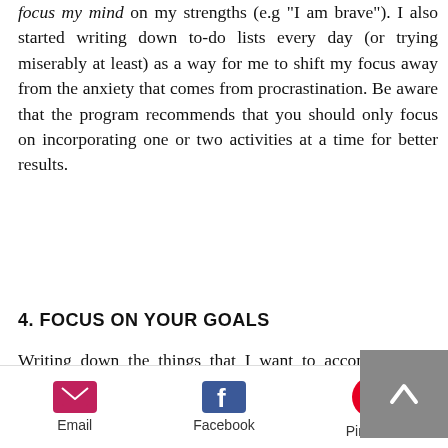focus my mind on my strengths (e.g "I am brave"). I also started writing down to-do lists every day (or trying miserably at least) as a way for me to shift my focus away from the anxiety that comes from procrastination. Be aware that the program recommends that you should only focus on incorporating one or two activities at a time for better results.
4. FOCUS ON YOUR GOALS
Writing down the things that I want to accomplish and having them in mind always helps me stay
Email   Facebook   Pinterest